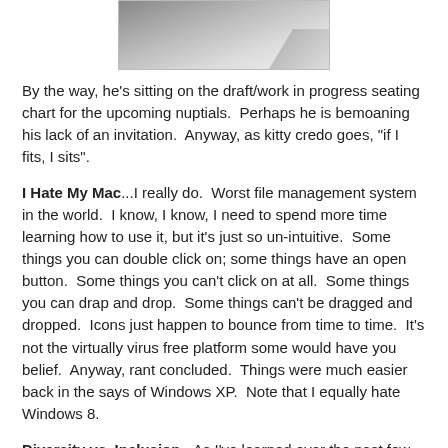[Figure (photo): Partial photo of what appears to be papers or a book on a surface, cropped at the top of the page.]
By the way, he's sitting on the draft/work in progress seating chart for the upcoming nuptials.  Perhaps he is bemoaning his lack of an invitation.  Anyway, as kitty credo goes, "if I fits, I sits".
I Hate My Mac...I really do.  Worst file management system in the world.  I know, I know, I need to spend more time learning how to use it, but it's just so un-intuitive.  Some things you can double click on; some things have an open button.  Some things you can't click on at all.  Some things you can drap and drop.  Some things can't be dragged and dropped.  Icons just happen to bounce from time to time.  It's not the virtually virus free platform some would have you belief.  Anyway, rant concluded.  Things were much easier back in the says of Windows XP.  Note that I equally hate Windows 8.
Diversity vs. Inclusion...As I've learned over the past few